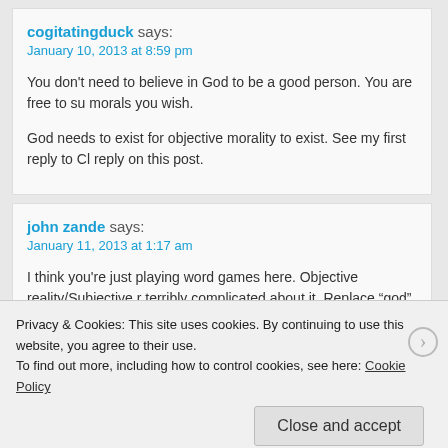cogitatingduck says: January 10, 2013 at 8:59 pm
You don't need to believe in God to be a good person. You are free to subscribe to whatever morals you wish.
God needs to exist for objective morality to exist. See my first reply to Cl... reply on this post.
john zande says: January 11, 2013 at 1:17 am
I think you're just playing word games here. Objective reality/Subjective m... terribly complicated about it. Replace “god” with “society” (which begins w... the final answer. Every child is born atheist. Through society and natural...
Privacy & Cookies: This site uses cookies. By continuing to use this website, you agree to their use.
To find out more, including how to control cookies, see here: Cookie Policy
Close and accept